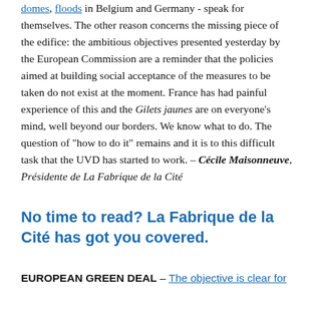domes, floods in Belgium and Germany - speak for themselves. The other reason concerns the missing piece of the edifice: the ambitious objectives presented yesterday by the European Commission are a reminder that the policies aimed at building social acceptance of the measures to be taken do not exist at the moment. France has had painful experience of this and the Gilets jaunes are on everyone's mind, well beyond our borders. We know what to do. The question of "how to do it" remains and it is to this difficult task that the UVD has started to work. – Cécile Maisonneuve, Présidente de La Fabrique de la Cité
No time to read? La Fabrique de la Cité has got you covered.
EUROPEAN GREEN DEAL – The objective is clear for